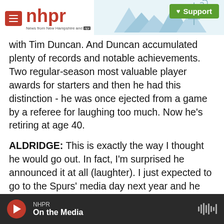nhpr — News from New Hampshire and NPR | Support
with Tim Duncan. And Duncan accumulated plenty of records and notable achievements. Two regular-season most valuable player awards for starters and then he had this distinction - he was once ejected from a game by a referee for laughing too much. Now he's retiring at age 40.
ALDRIDGE: This is exactly the way I thought he would go out. In fact, I'm surprised he announced it at all (laughter). I just expected to go to the Spurs' media day next year and he wasn't there anymore.
MONTAGNE: Unlike other retiring sports stars,
NHPR — On the Media